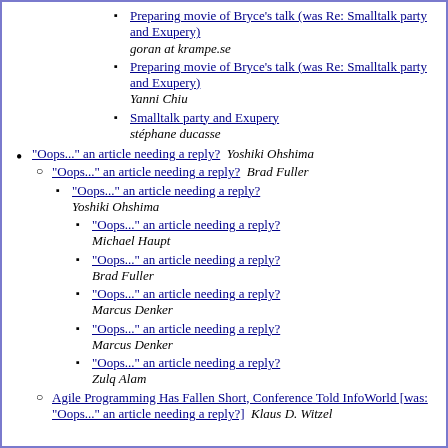Preparing movie of Bryce's talk (was Re: Smalltalk party and Exupery) goran at krampe.se
Preparing movie of Bryce's talk (was Re: Smalltalk party and Exupery) Yanni Chiu
Smalltalk party and Exupery stéphane ducasse
"Oops..." an article needing a reply? Yoshiki Ohshima
"Oops..." an article needing a reply? Brad Fuller
"Oops..." an article needing a reply? Yoshiki Ohshima
"Oops..." an article needing a reply? Michael Haupt
"Oops..." an article needing a reply? Brad Fuller
"Oops..." an article needing a reply? Marcus Denker
"Oops..." an article needing a reply? Marcus Denker
"Oops..." an article needing a reply? Zulq Alam
Agile Programming Has Fallen Short, Conference Told InfoWorld [was: "Oops..." an article needing a reply?] Klaus D. Witzel